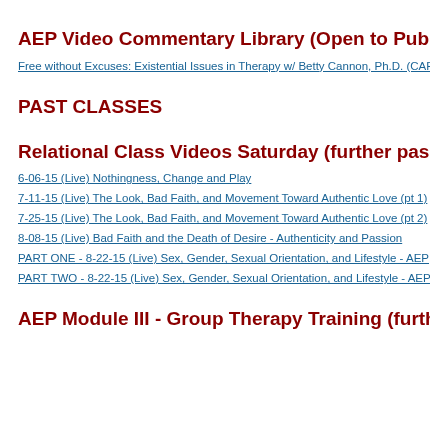AEP Video Commentary Library (Open to Public)
Free without Excuses: Existential Issues in Therapy w/ Betty Cannon, Ph.D. (CAP...
PAST CLASSES
Relational Class Videos Saturday (further passwo...
6-06-15 (Live) Nothingness, Change and Play
7-11-15 (Live) The Look, Bad Faith, and Movement Toward Authentic Love (pt 1)...
7-25-15 (Live) The Look, Bad Faith, and Movement Toward Authentic Love (pt 2)...
8-08-15 (Live) Bad Faith and the Death of Desire - Authenticity and Passion
PART ONE - 8-22-15 (Live) Sex, Gender, Sexual Orientation, and Lifestyle - AEP...
PART TWO - 8-22-15 (Live) Sex, Gender, Sexual Orientation, and Lifestyle - AEP...
AEP Module III - Group Therapy Training (further pa...